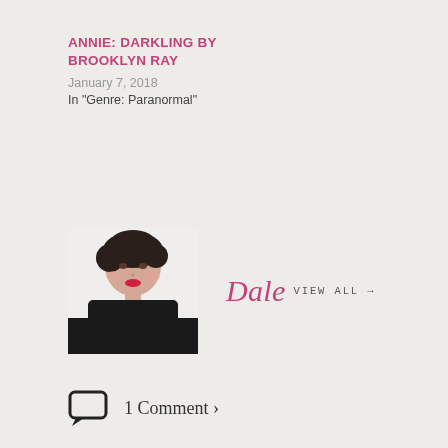ANNIE: DARKLING BY BROOKLYN RAY
January 7, 2018
In "Genre: Paranormal"
[Figure (photo): Author photo: young woman with short dark curly hair, red lipstick, wearing black top, white background]
Dale VIEW ALL →
1 Comment ›